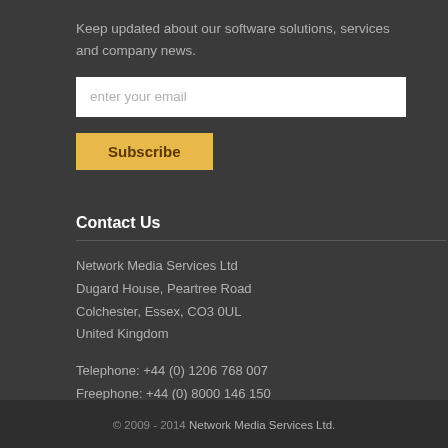Keep updated about our software solutions, services and company news.
enter your email
Subscribe
Contact Us
Network Media Services Ltd
Dugard House, Peartree Road
Colchester, Essex, CO3 0UL
United Kingdom
Telephone: +44 (0) 1206 768 007
Freephone: +44 (0) 8000 146 150
Email: info@networkmediaservices.com
© 2009 - 2014 Network Media Services Ltd.